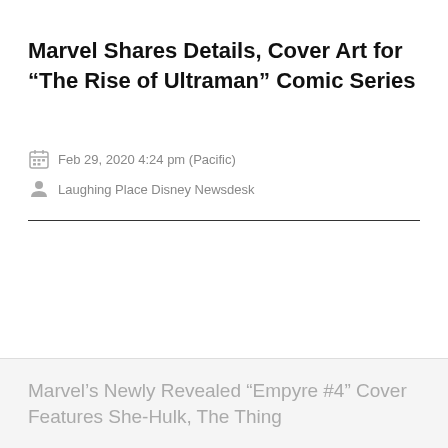Marvel Shares Details, Cover Art for “The Rise of Ultraman” Comic Series
Feb 29, 2020 4:24 pm (Pacific)
Laughing Place Disney Newsdesk
Marvel’s Newly Revealed “Empyre #4” Cover Features She-Hulk, The Thing